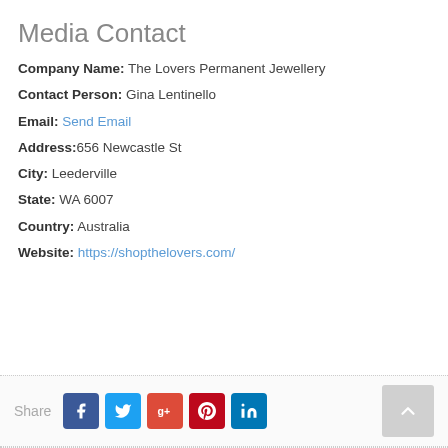Media Contact
Company Name: The Lovers Permanent Jewellery
Contact Person: Gina Lentinello
Email: Send Email
Address: 656 Newcastle St
City: Leederville
State: WA 6007
Country: Australia
Website: https://shopthelovers.com/
Share [Facebook] [Twitter] [Google+] [Pinterest] [LinkedIn]